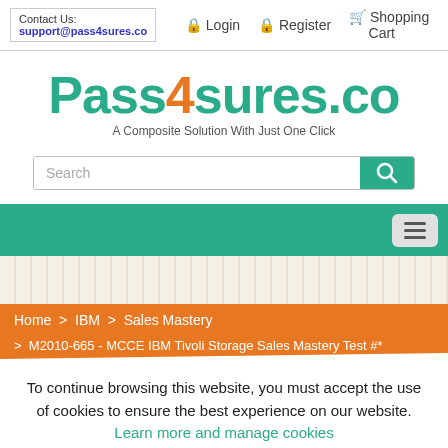Contact Us: support@pass4sures.co | Login | Register | Shopping Cart
[Figure (logo): Pass4sures.co logo with tagline 'A Composite Solution With Just One Click']
Search
[Figure (screenshot): Teal navigation bar with hamburger menu button]
[Figure (other): Striped decorative band]
Home > IBM > Sales Mastery
> M2010-665 - MCCE IBM Tivoli Storage Sales Mastery Test #*
To continue browsing this website, you must accept the use of cookies to ensure the best experience on our website. Learn more and manage cookies
OK